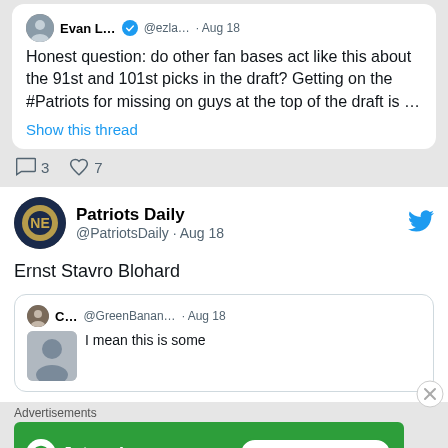Evan L... @ezla... · Aug 18
Honest question: do other fan bases act like this about the 91st and 101st picks in the draft? Getting on the #Patriots for missing on guys at the top of the draft is …
Show this thread
3   7
Patriots Daily @PatriotsDaily · Aug 18
Ernst Stavro Blohard
C... @GreenBanan... · Aug 18
I mean this is some
Advertisements
[Figure (infographic): Jetpack advertisement banner with green background showing Jetpack logo and 'Back up your site' button]